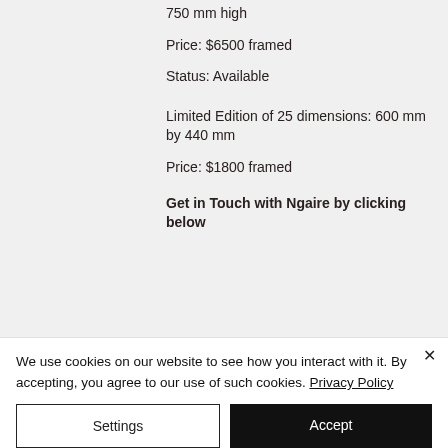750 mm high
Price: $6500 framed
Status: Available
Limited Edition of 25 dimensions: 600 mm by 440 mm
Price: $1800 framed
Get in Touch with Ngaire by clicking below
We use cookies on our website to see how you interact with it. By accepting, you agree to our use of such cookies. Privacy Policy
Settings
Accept